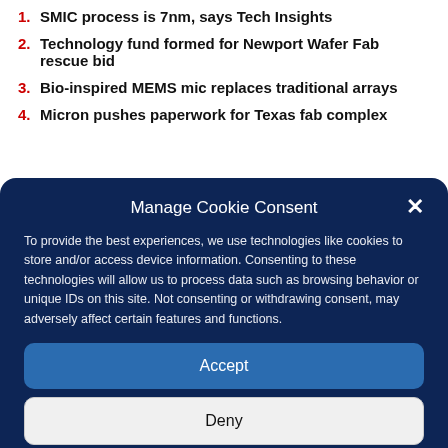1. SMIC process is 7nm, says Tech Insights
2. Technology fund formed for Newport Wafer Fab rescue bid
3. Bio-inspired MEMS mic replaces traditional arrays
4. Micron pushes paperwork for Texas fab complex
Manage Cookie Consent
To provide the best experiences, we use technologies like cookies to store and/or access device information. Consenting to these technologies will allow us to process data such as browsing behavior or unique IDs on this site. Not consenting or withdrawing consent, may adversely affect certain features and functions.
Accept
Deny
View preferences
Privacy Statement